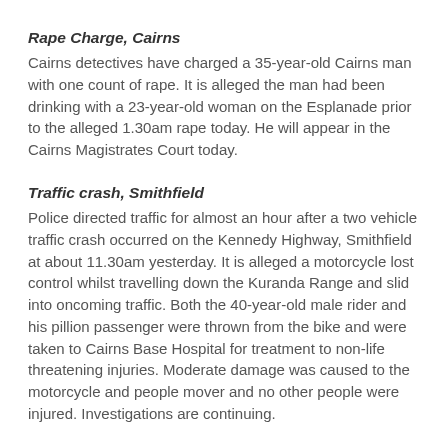Rape Charge, Cairns
Cairns detectives have charged a 35-year-old Cairns man with one count of rape. It is alleged the man had been drinking with a 23-year-old woman on the Esplanade prior to the alleged 1.30am rape today. He will appear in the Cairns Magistrates Court today.
Traffic crash, Smithfield
Police directed traffic for almost an hour after a two vehicle traffic crash occurred on the Kennedy Highway, Smithfield at about 11.30am yesterday. It is alleged a motorcycle lost control whilst travelling down the Kuranda Range and slid into oncoming traffic. Both the 40-year-old male rider and his pillion passenger were thrown from the bike and were taken to Cairns Base Hospital for treatment to non-life threatening injuries. Moderate damage was caused to the motorcycle and people mover and no other people were injured. Investigations are continuing.
High range drink drive, Port Douglas